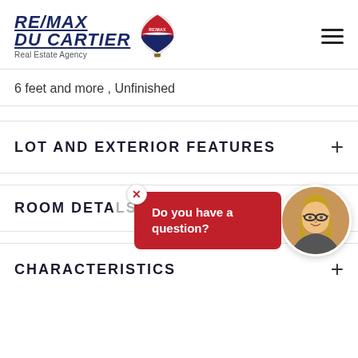[Figure (logo): RE/MAX Du Cartier Real Estate Agency logo with hot air balloon icon]
6 feet and more , Unfinished
LOT AND EXTERIOR FEATURES
ROOM DETAILS
[Figure (photo): Chat popup widget: red bubble asking 'Do you have a question?' with close X button and circular agent photo of a blonde woman with glasses]
CHARACTERISTICS